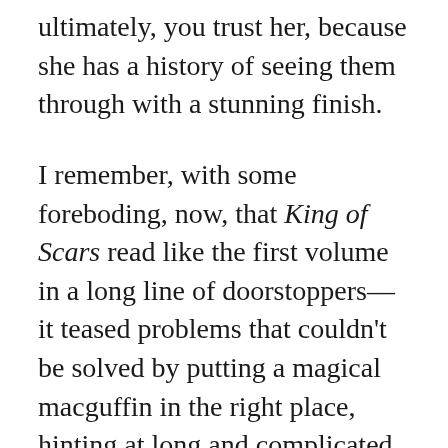ultimately, you trust her, because she has a history of seeing them through with a stunning finish.
I remember, with some foreboding, now, that King of Scars read like the first volume in a long line of doorstoppers––it teased problems that couldn't be solved by putting a magical macguffin in the right place, hinting at long and complicated conflicts beyond our characters' shores. It was a tantalizing first glimpse, but of a delivery in all-out war with its package. Simply put, King of Scars is a check Rule of Wolves can't cash. In fact, it's a check no book can cash, at least not with these constraints, as evidenced by the bitter sting of a compelling setup clipped with an ending